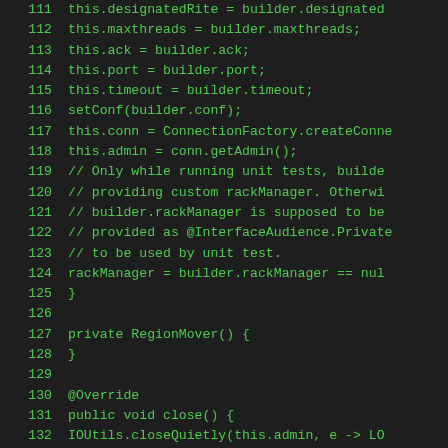[Figure (screenshot): Source code listing showing Java code lines 111-139, with green monospace text on dark background. Lines include constructor assignments, comments, and method definitions for a RegionMover class.]